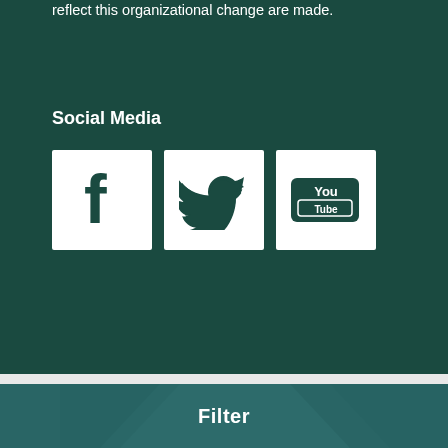reflect this organizational change are made.
Social Media
[Figure (illustration): Three social media icons in white squares on dark green background: Facebook (f logo), Twitter (bird logo), YouTube (You Tube logo)]
Filter